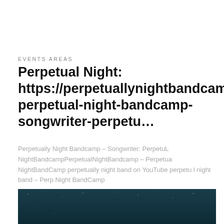EVENTS AREAS
Perpetual Night: https://perpetuallynightbandcamp.bandcamp.../perpetua… perpetual-night-bandcamp-songwriter-perpetu…
Perpetually Night Bandcamp – Songwriter: PerpetuL NightBandcampPerpetualNightBandcamp – Perpetua NightBandCamp perpetually night band on YouTube perpetu l night band – Perp.Night BandCamp
[Figure (photo): Night sky with stars and a crescent moon on a dark teal background]